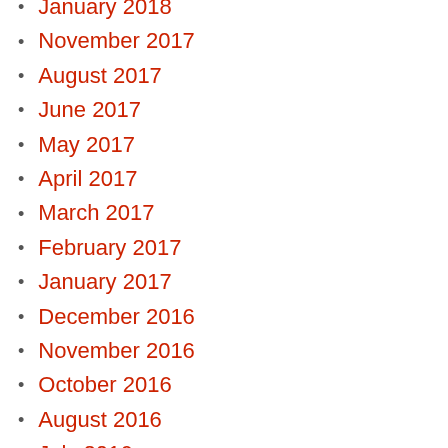January 2018
November 2017
August 2017
June 2017
May 2017
April 2017
March 2017
February 2017
January 2017
December 2016
November 2016
October 2016
August 2016
July 2016
June 2016
May 2016
April 2016
March 2016